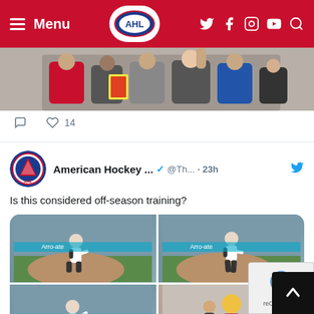AHL Menu
[Figure (photo): Partial view of fans at an AHL event, group photo with kids and adults]
14 likes
[Figure (photo): American Hockey League tweet with 2x2 grid of photos showing a hockey player throwing a first pitch at a baseball game, and a photo with the team mascot]
American Hockey ... @Th... · 23h
Is this considered off-season training?
17 likes